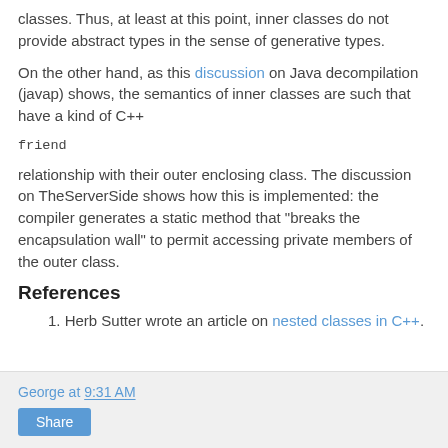classes. Thus, at least at this point, inner classes do not provide abstract types in the sense of generative types.
On the other hand, as this discussion on Java decompilation (javap) shows, the semantics of inner classes are such that have a kind of C++
friend
relationship with their outer enclosing class. The discussion on TheServerSide shows how this is implemented: the compiler generates a static method that "breaks the encapsulation wall" to permit accessing private members of the outer class.
References
1. Herb Sutter wrote an article on nested classes in C++.
George at 9:31 AM
Share